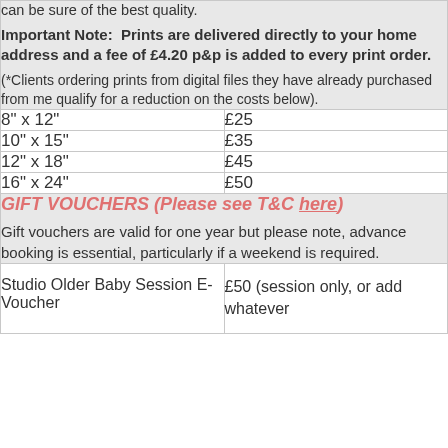can be sure of the best quality.
Important Note:  Prints are delivered directly to your home address and a fee of £4.20 p&p is added to every print order.
(*Clients ordering prints from digital files they have already purchased from me qualify for a reduction on the costs below).
| Size | Price |
| --- | --- |
| 8" x 12" | £25 |
| 10" x 15" | £35 |
| 12" x 18" | £45 |
| 16" x 24" | £50 |
GIFT VOUCHERS (Please see T&C here)
Gift vouchers are valid for one year but please note, advance booking is essential, particularly if a weekend is required.
| Item | Price |
| --- | --- |
| Studio Older Baby Session E-Voucher | £50 (session only, or add whatever |